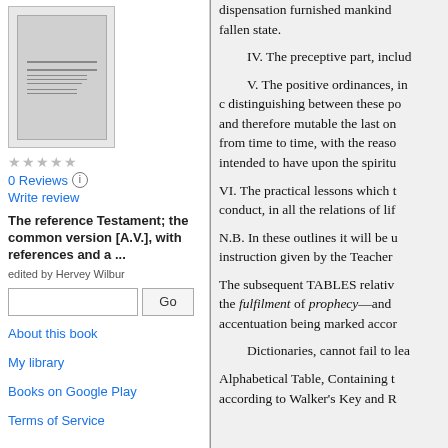[Figure (illustration): Book cover thumbnail for 'The reference Testament; the common version [A.V.], with references and a ...' edited by Hervey Wilbur]
0 Reviews
Write review
The reference Testament; the common version [A.V.], with references and a ...
edited by Hervey Wilbur
About this book
My library
Books on Google Play
Terms of Service
dispensation furnished mankind... fallen state.

IV. The preceptive part, includ

V. The positive ordinances, in
c distinguishing between these po and therefore mutable the last on from time to time, with the reaso intended to have upon the spiritu

VI. The practical lessons which t conduct, in all the relations of lif

N.B. In these outlines it will be u instruction given by the Teacher

The subsequent TABLES relativ the fulfilment of prophecy—and accentuation being marked accor

Dictionaries, cannot fail to lea

Alphabetical Table, Containing t according to Walker's Key and R